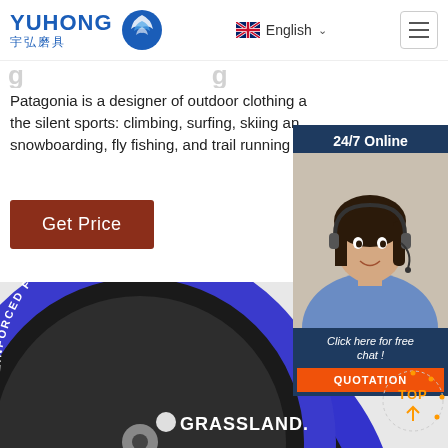YUHONG 宇弘磨具 | English | Menu
Patagonia is a designer of outdoor clothing and gear for the silent sports: climbing, surfing, skiing and snowboarding, fly fishing, and trail running
Get Price
[Figure (photo): Circular grinding disc labeled GRASSLAND, REINFORCED FOR SAFETY, GRINDING FOR METAL, MAX R.P.M., ISO 9001, A24R-BF]
[Figure (photo): Customer service representative photo with 24/7 Online chat panel overlay, Click here for free chat, QUOTATION button]